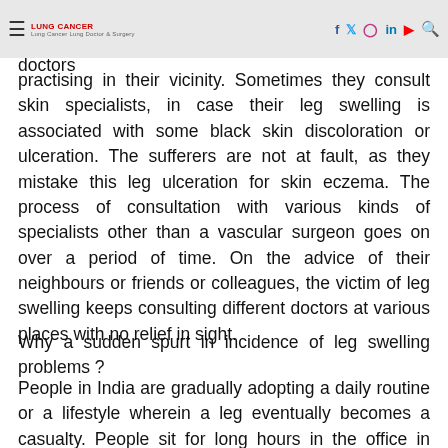bone specialist or specialist in ancient medicines (ayurvedic or unani or homeopathic) or quack doctors
practising in their vicinity. Sometimes they consult skin specialists, in case their leg swelling is associated with some black skin discoloration or ulceration. The sufferers are not at fault, as they mistake this leg ulceration for skin eczema. The process of consultation with various kinds of specialists other than a vascular surgeon goes on over a period of time. On the advice of their neighbours or friends or colleagues, the victim of leg swelling keeps consulting different doctors at various places with no relief in sight.
Why a sudden spurt in incidence of leg swelling problems ?
People in India are gradually adopting a daily routine or a lifestyle wherein a leg eventually becomes a casualty. People sit for long hours in the office in front of computers, ladies watch television serials sitting but their minds are elsewhere and that too for